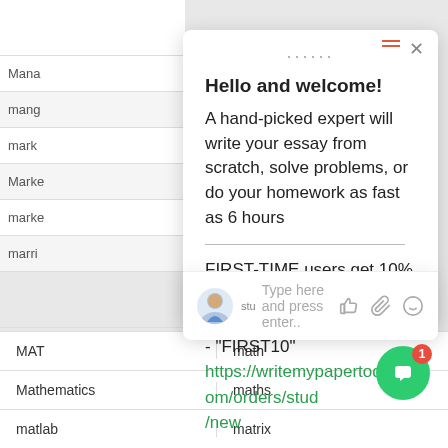Hello and welcome!
A hand-picked expert will write your essay from scratch, solve problems, or do your homework as fast as 6 hours
FIRST-TIME users get 10% OFF!
Use Discount Coupon code - "FIRST10"
https://writemypapertoday.com/orders/stud/new
Type here and press enter..
| MAT | math |
| Mathematics | maths |
| matlab | matrix |